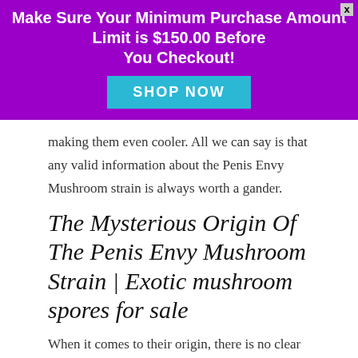Make Sure Your Minimum Purchase Amount Limit is $150.00 Before You Checkout!
[Figure (other): Purple banner with SHOP NOW button and close X]
making them even cooler. All we can say is that any valid information about the Penis Envy Mushroom strain is always worth a gander.
The Mysterious Origin Of The Penis Envy Mushroom Strain | Exotic mushroom spores for sale
When it comes to their origin, there is no clear evidence on where the Penis Envy Mushroom comes from besides theories of being a mutant. No specific proof has been found with their discovery, but it is believed by some that the